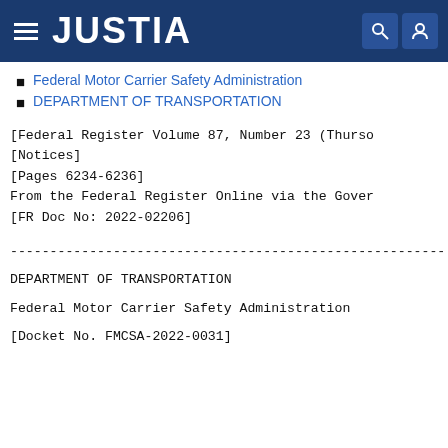JUSTIA
Federal Motor Carrier Safety Administration
DEPARTMENT OF TRANSPORTATION
[Federal Register Volume 87, Number 23 (Thursday…
[Notices]
[Pages 6234-6236]
From the Federal Register Online via the Government…
[FR Doc No: 2022-02206]
-------------------------------------------------------
DEPARTMENT OF TRANSPORTATION
Federal Motor Carrier Safety Administration
[Docket No. FMCSA-2022-0031]